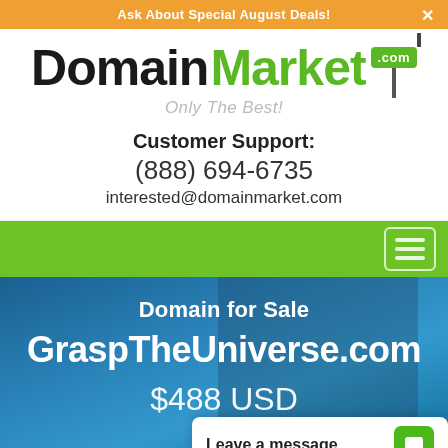Ask About Special August Deals!
[Figure (logo): DomainMarket.com logo with sign graphic and tagline 'Only The Best!']
Customer Support:
(888) 694-6735
interested@domainmarket.com
[Figure (other): Green navigation bar with hamburger menu icon]
Domain for Sale
GraspTheUniverse.com
$488 USD
Leave a message